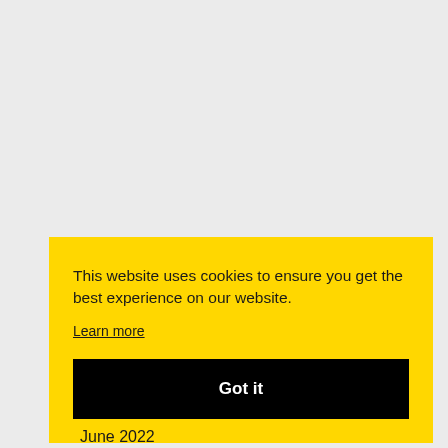This website uses cookies to ensure you get the best experience on our website. Learn more
Got it
June 2022